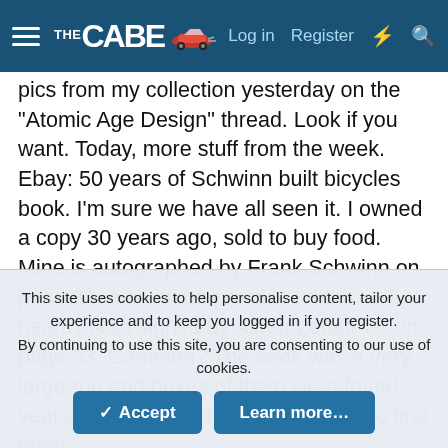THE CABE — Log in   Register
pics from my collection yesterday on the "Atomic Age Design" thread. Look if you want. Today, more stuff from the week. Ebay: 50 years of Schwinn built bicycles book. I'm sure we have all seen it. I owned a copy 30 years ago, sold to buy food. Mine is autographed by Frank Schwinn on page 31, a common practice I think I heard? Also signed by Alfred Letourner on page 53. Common? The book was a very large run and boxes of them were found years ago. I think a Caber was there to find them?
This site uses cookies to help personalise content, tailor your experience and to keep you logged in if you register. By continuing to use this site, you are consenting to our use of cookies.
✓ Accept   Learn more...